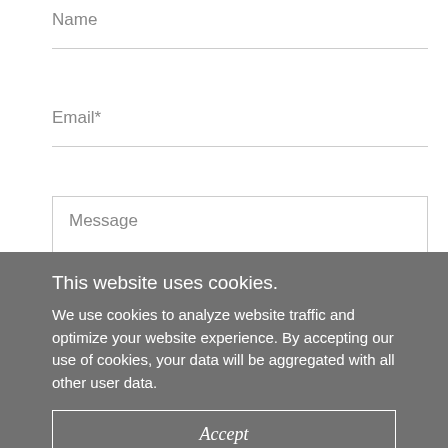Name
Email*
Message
This website uses cookies.
We use cookies to analyze website traffic and optimize your website experience. By accepting our use of cookies, your data will be aggregated with all other user data.
Accept